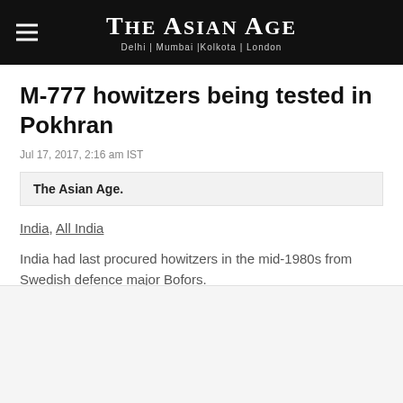THE ASIAN AGE — Delhi | Mumbai | Kolkata | London
M-777 howitzers being tested in Pokhran
Jul 17, 2017, 2:16 am IST
The Asian Age.
India, All India
India had last procured howitzers in the mid-1980s from Swedish defence major Bofors.